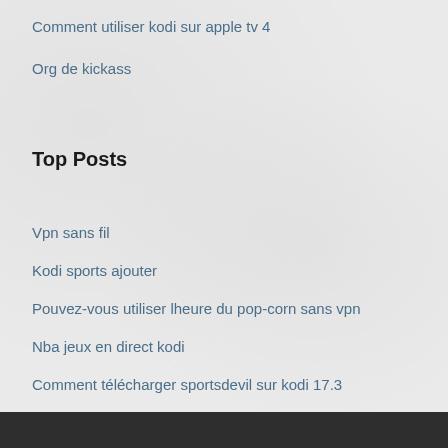Comment utiliser kodi sur apple tv 4
Org de kickass
Top Posts
Vpn sans fil
Kodi sports ajouter
Pouvez-vous utiliser lheure du pop-corn sans vpn
Nba jeux en direct kodi
Comment télécharger sportsdevil sur kodi 17.3